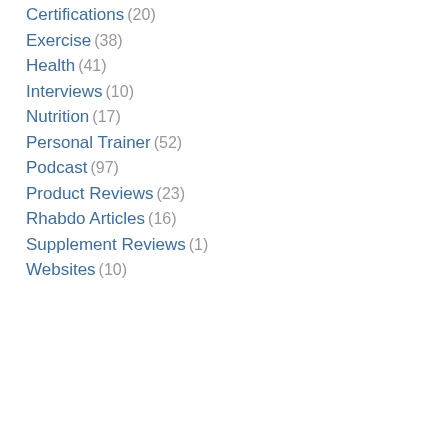Certifications (20)
Exercise (38)
Health (41)
Interviews (10)
Nutrition (17)
Personal Trainer (52)
Podcast (97)
Product Reviews (23)
Rhabdo Articles (16)
Supplement Reviews (1)
Websites (10)